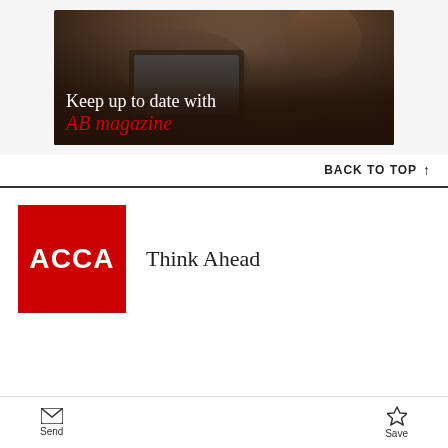[Figure (illustration): Advertisement banner for AB magazine showing a laptop on a desk with text 'Keep up to date with AB magazine' in white and red serif font on a dark background]
BACK TO TOP ↑
[Figure (logo): ACCA logo: red square with white ACCA text, followed by 'Think Ahead' tagline]
Send   Save